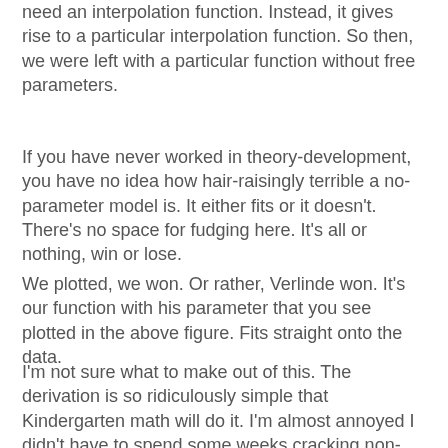need an interpolation function. Instead, it gives rise to a particular interpolation function. So then, we were left with a particular function without free parameters.
If you have never worked in theory-development, you have no idea how hair-raisingly terrible a no-parameter model is. It either fits or it doesn't. There's no space for fudging here. It's all or nothing, win or lose.
We plotted, we won. Or rather, Verlinde won. It's our function with his parameter that you see plotted in the above figure. Fits straight onto the data.
I'm not sure what to make out of this. The derivation is so ridiculously simple that Kindergarten math will do it. I'm almost annoyed I didn't have to spend some weeks cracking non-linear partial differential equations because then at least I'd feel like I did something. Now I feel like the proverbial blind chick that found a grain.
But well, as scientists like to say, more work is needed. We're still scratching our heads over the gravitational